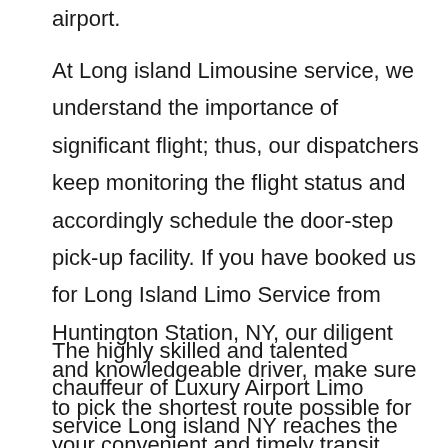airport.
At Long island Limousine service, we understand the importance of significant flight; thus, our dispatchers keep monitoring the flight status and accordingly schedule the door-step pick-up facility. If you have booked us for Long Island Limo Service from Huntington Station, NY, our diligent and knowledgeable driver, make sure to pick the shortest route possible for your convenient and timely transit.
The highly skilled and talented chauffeur of Luxury Airport Limo service Long island NY reaches the place of the customer beforehand to help him with luggage and to make sure for the time reach to the